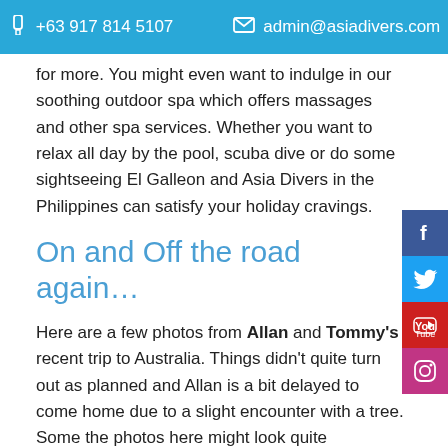+63 917 814 5107   admin@asiadivers.com
for more. You might even want to indulge in our soothing outdoor spa which offers massages and other spa services. Whether you want to relax all day by the pool, scuba dive or do some sightseeing El Galleon and Asia Divers in the Philippines can satisfy your holiday cravings.
On and Off the road again…
Here are a few photos from Allan and Tommy's recent trip to Australia. Things didn't quite turn out as planned and Allan is a bit delayed to come home due to a slight encounter with a tree. Some the photos here might look quite concerning, but don't worry, he is doing very well now and should be back home very soon…..so he can get ready for his next adventure!!